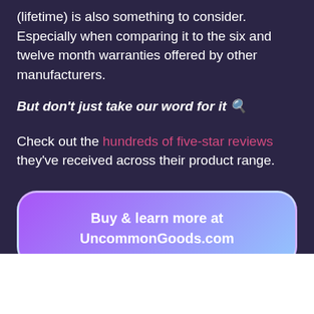(lifetime) is also something to consider. Especially when comparing it to the six and twelve month warranties offered by other manufacturers.
But don't just take our word for it 🔍
Check out the hundreds of five-star reviews they've received across their product range.
Buy & learn more at UncommonGoods.com